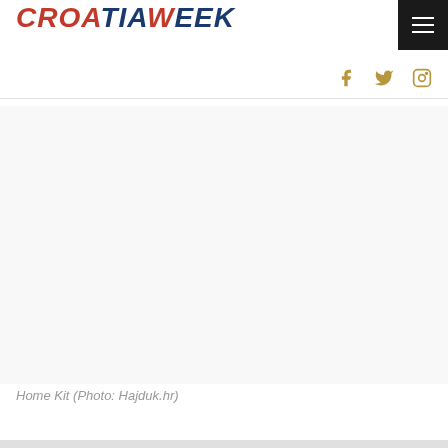CROATIA WEEK
[Figure (photo): Blank/white image area for Home Kit photo (Photo: Hajduk.hr)]
Home Kit (Photo: Hajduk.hr)